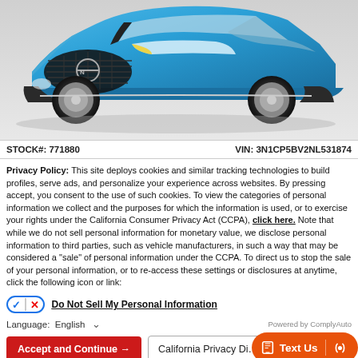[Figure (photo): Blue Nissan SUV (Kicks/Rogue Sport) front three-quarter view on gray background]
STOCK#: 771880    VIN: 3N1CP5BV2NL531874
Privacy Policy: This site deploys cookies and similar tracking technologies to build profiles, serve ads, and personalize your experience across websites. By pressing accept, you consent to the use of such cookies. To view the categories of personal information we collect and the purposes for which the information is used, or to exercise your rights under the California Consumer Privacy Act (CCPA), click here. Note that while we do not sell personal information for monetary value, we disclose personal information to third parties, such as vehicle manufacturers, in such a way that may be considered a "sale" of personal information under the CCPA. To direct us to stop the sale of your personal information, or to re-access these settings or disclosures at anytime, click the following icon or link:
Do Not Sell My Personal Information
Language:  English
Powered by ComplyAuto
Accept and Continue →
California Privacy Di...
Text Us